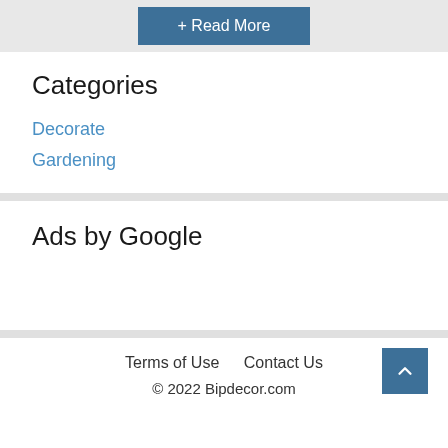+ Read More
Categories
Decorate
Gardening
Ads by Google
Terms of Use    Contact Us
© 2022 Bipdecor.com